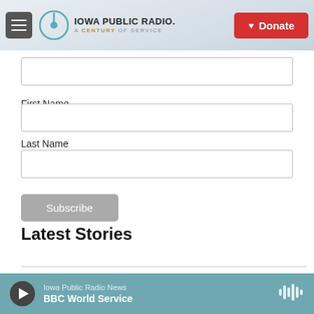Iowa Public Radio. A Century of Service. Donate
First Name
Last Name
Subscribe
Latest Stories
Iowa Public Radio News
BBC World Service